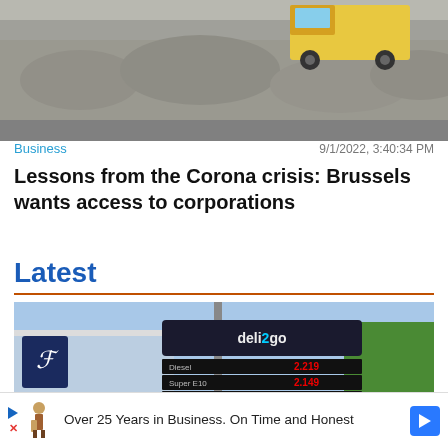[Figure (photo): A construction truck on a rocky gravel mound, partially cropped at the top of the page]
Business
9/1/2022, 3:40:34 PM
Lessons from the Corona crisis: Brussels wants access to corporations
Latest
[Figure (photo): A gas station price sign showing fuel prices (deli2go branding) with LED display panels showing prices approximately 2.219, 2.149, 2.209, 2.469, and another row. A Shell logo canopy is visible on the left.]
Close X
Over 25 Years in Business. On Time and Honest